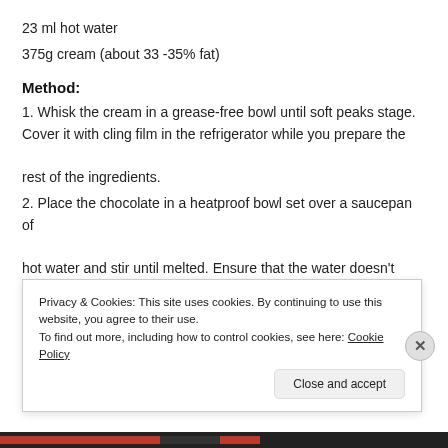23 ml hot water
375g cream (about 33 -35% fat)
Method:
1. Whisk the cream in a grease-free bowl until soft peaks stage. Cover it with cling film in the refrigerator while you prepare the rest of the ingredients.
2. Place the chocolate in a heatproof bowl set over a saucepan of hot water and stir until melted. Ensure that the water doesn't touch the bowl holding the white chocolate
3. Separate the egg yolks and whisk them lightly before adding it a little at a time to the chocolate. Make sure that the the egg yolk
Privacy & Cookies: This site uses cookies. By continuing to use this website, you agree to their use.
To find out more, including how to control cookies, see here: Cookie Policy
Close and accept